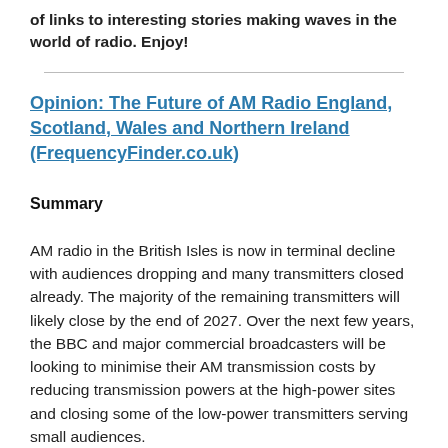of links to interesting stories making waves in the world of radio. Enjoy!
Opinion: The Future of AM Radio England, Scotland, Wales and Northern Ireland (FrequencyFinder.co.uk)
Summary
AM radio in the British Isles is now in terminal decline with audiences dropping and many transmitters closed already. The majority of the remaining transmitters will likely close by the end of 2027. Over the next few years, the BBC and major commercial broadcasters will be looking to minimise their AM transmission costs by reducing transmission powers at the high-power sites and closing some of the low-power transmitters serving small audiences.